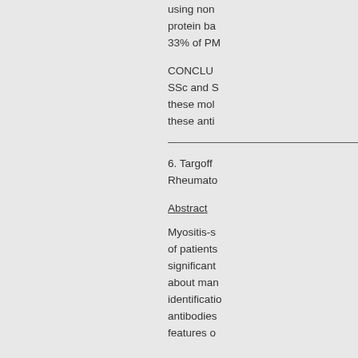using non protein ba 33% of PM
CONCLU SSc and S these mol these anti
6. Targoff Rheumato
Abstract
Myositis-s of patients significantl about man identificatio antibodies features o